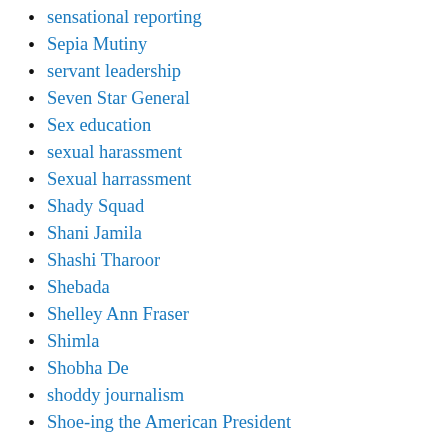sensational reporting
Sepia Mutiny
servant leadership
Seven Star General
Sex education
sexual harassment
Sexual harrassment
Shady Squad
Shani Jamila
Shashi Tharoor
Shebada
Shelley Ann Fraser
Shimla
Shobha De
shoddy journalism
Shoe-ing the American President